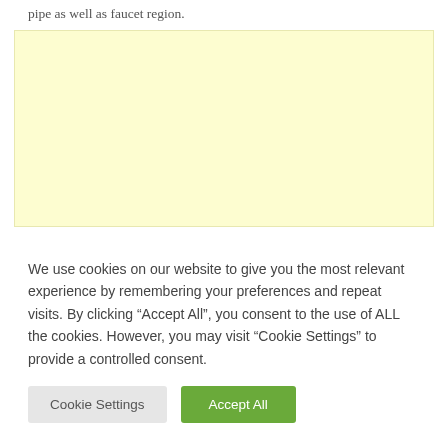pipe as well as faucet region.
[Figure (other): Light yellow rectangular placeholder/advertisement box]
We use cookies on our website to give you the most relevant experience by remembering your preferences and repeat visits. By clicking “Accept All”, you consent to the use of ALL the cookies. However, you may visit “Cookie Settings” to provide a controlled consent.
Cookie Settings
Accept All